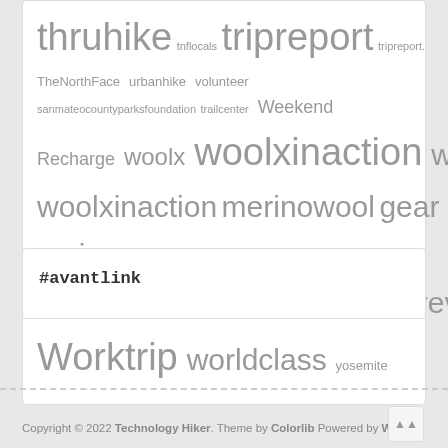[Figure (other): Tag cloud showing hashtags/keywords including thruhike, tnflocals, tripreport, tripreport., TheNorthFace, urbanhike, volunteer, sanmateocountyparksfoundation, trailcenter, Weekend Recharge, woolx, woolxinaction, woolx, woolxinaction, merinowool, gear review, basecamphoody, merino, gearreview, Worktrip, worldclass, yosemite — displayed in varying font sizes indicating frequency]
#avantlink
Copyright © 2022 Technology Hiker. Theme by Colorlib Powered by Wo s